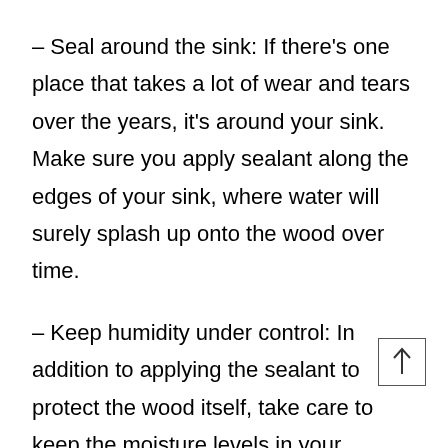– Seal around the sink: If there's one place that takes a lot of wear and tears over the years, it's around your sink. Make sure you apply sealant along the edges of your sink, where water will surely splash up onto the wood over time.
– Keep humidity under control: In addition to applying the sealant to protect the wood itself, take care to keep the moisture levels in your kitchen under control—especially near your sink. This means using a dehumidifier if necessary, especially in regions where humidity is high year-